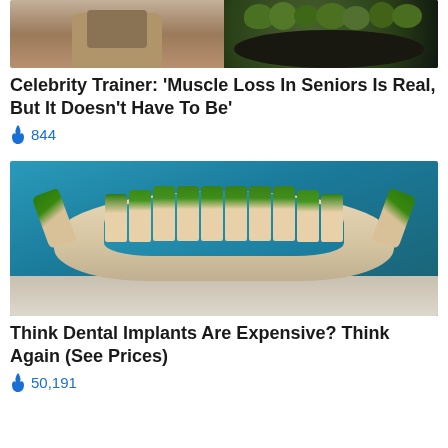[Figure (photo): Split image showing a person (left, cropped to midsection in khaki pants) and a bowl of broccoli (right, green vegetables on dark pan)]
Celebrity Trainer: 'Muscle Loss In Seniors Is Real, But It Doesn't Have To Be'
🔥 844
[Figure (photo): Dental implant model with green-capped teeth on a beige/cream dental arch model, photographed against a blue background]
Think Dental Implants Are Expensive? Think Again (See Prices)
🔥 50,191